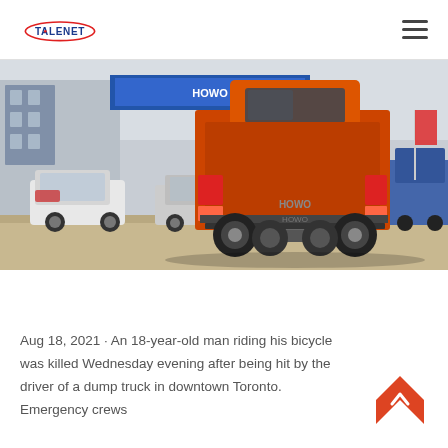TALENET
[Figure (photo): Rear view of an orange HOWO semi-truck/tractor unit parked in a commercial vehicle lot, with other cars and trucks visible in the background and commercial buildings behind.]
Aug 18, 2021 · An 18-year-old man riding his bicycle was killed Wednesday evening after being hit by the driver of a dump truck in downtown Toronto. Emergency crews